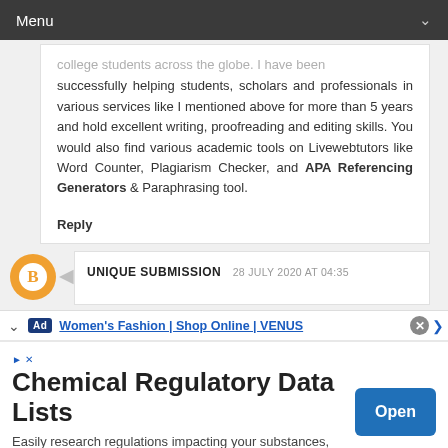Menu
college students across the globe. I have been successfully helping students, scholars and professionals in various services like I mentioned above for more than 5 years and hold excellent writing, proofreading and editing skills. You would also find various academic tools on Livewebtutors like Word Counter, Plagiarism Checker, and APA Referencing Generators & Paraphrasing tool.
Reply
UNIQUE SUBMISSION  28 JULY 2020 AT 04:35
[Figure (screenshot): Ad strip with Women's Fashion | Shop Online | VENUS link and close button]
[Figure (screenshot): Bottom advertisement block: Chemical Regulatory Data Lists - Easily research regulations impacting your substances, products and supply chain 3E, with Open button]